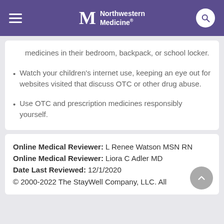Northwestern Medicine
medicines in their bedroom, backpack, or school locker.
Watch your children's internet use, keeping an eye out for websites visited that discuss OTC or other drug abuse.
Use OTC and prescription medicines responsibly yourself.
Online Medical Reviewer: L Renee Watson MSN RN
Online Medical Reviewer: Liora C Adler MD
Date Last Reviewed: 12/1/2020
© 2000-2022 The StayWell Company, LLC. All